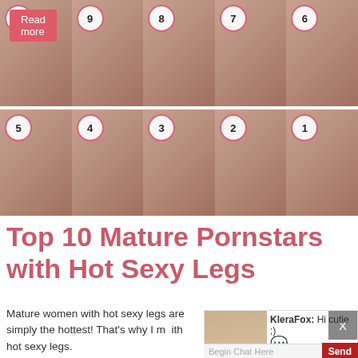[Figure (photo): Grid of 10 portrait photos numbered 10 down to 1, arranged in two rows of 5.]
Top 10 Mature Pornstars with Hot Sexy Legs
Mature women with hot sexy legs are simply the hottest! That's why I m[ade this list of mature pornstars] with hot sexy legs. [They are the] most beautiful [women with] ve[ry] years of exper[ience] of
[Figure (screenshot): Chat popup overlay with avatar photo of young woman, KleraFox: Hi cutie ;) message, Begin Chat Here input box, and Send button. Also shows X close button and Read more button.]